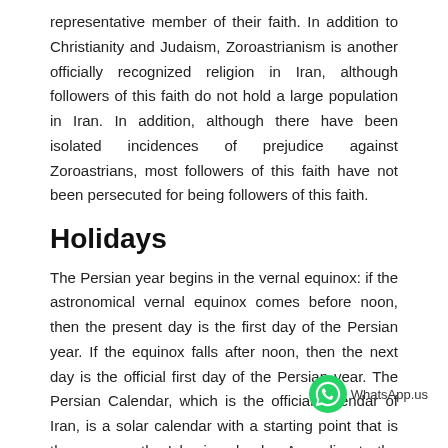representative member of their faith. In addition to Christianity and Judaism, Zoroastrianism is another officially recognized religion in Iran, although followers of this faith do not hold a large population in Iran. In addition, although there have been isolated incidences of prejudice against Zoroastrians, most followers of this faith have not been persecuted for being followers of this faith.
Holidays
The Persian year begins in the vernal equinox: if the astronomical vernal equinox comes before noon, then the present day is the first day of the Persian year. If the equinox falls after noon, then the next day is the official first day of the Persian year. The Persian Calendar, which is the official calendar of Iran, is a solar calendar with a starting point that is the same as the Islamic calendar. According to the Iran Labor Code, Friday is the weekly day of rest. Government official working hours are from Saturday to Wednesday (from 8 am to 4 pm).
Although the date of certain holidays in Iran are not exact (due to the calendar system they use, most of these holidays are around the same the day as of the corresponding holiday in the standard calendar.